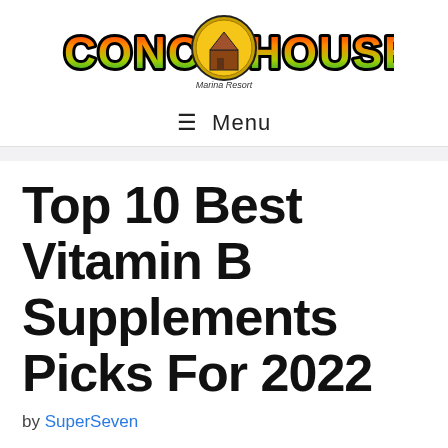[Figure (logo): Conch House Marina Resort logo with colorful tropical text and circular emblem]
≡ Menu
Top 10 Best Vitamin B Supplements Picks For 2022
by SuperSeven